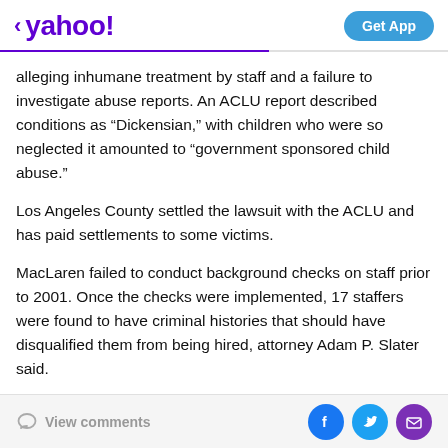< yahoo!   Get App
alleging inhumane treatment by staff and a failure to investigate abuse reports. An ACLU report described conditions as “Dickensian,” with children who were so neglected it amounted to “government sponsored child abuse.”
Los Angeles County settled the lawsuit with the ACLU and has paid settlements to some victims.
MacLaren failed to conduct background checks on staff prior to 2001. Once the checks were implemented, 17 staffers were found to have criminal histories that should have disqualified them from being hired, attorney Adam P. Slater said.
View comments